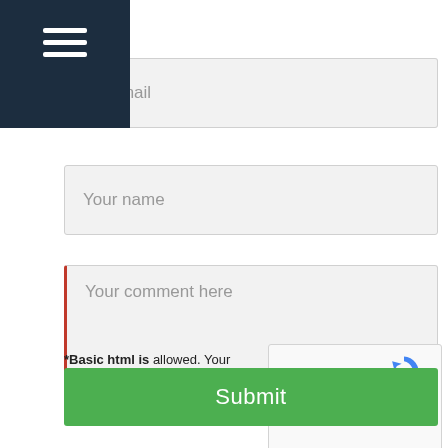[Figure (screenshot): Navigation hamburger menu icon on dark navy background]
ur e-mail
Your name
Your comment here
*Basic html is allowed. Your email address will not be published.
[Figure (screenshot): reCAPTCHA widget with checkbox labeled I'm not a robot and reCAPTCHA logo with Privacy - Terms links]
Submit